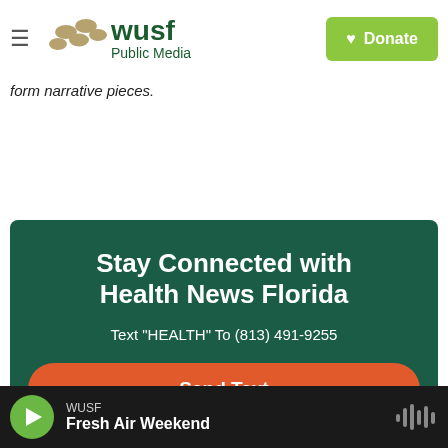WUSF Public Media — Donate
form narrative pieces.
[Figure (infographic): Stay Connected with Health News Florida promotional box with dark green background. Text: 'Stay Connected with Health News Florida', 'Text "HEALTH" To (813) 491-9255', and an orange 'Send Text' button.]
WUSF — Fresh Air Weekend